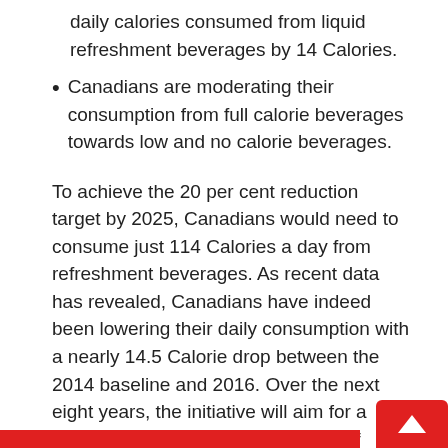daily calories consumed from liquid refreshment beverages by 14 Calories.
Canadians are moderating their consumption from full calorie beverages towards low and no calorie beverages.
To achieve the 20 per cent reduction target by 2025, Canadians would need to consume just 114 Calories a day from refreshment beverages. As recent data has revealed, Canadians have indeed been lowering their daily consumption with a nearly 14.5 Calorie drop between the 2014 baseline and 2016. Over the next eight years, the initiative will aim for a reduction in the daily consumption of calories from liquid refreshment beverages of 14 Calories.
The most important market trend now driving lower refreshment beverages daily caloric consumption is a movement from full calorie beverages towards low and no calorie beverage options.  While a decade ago, lower